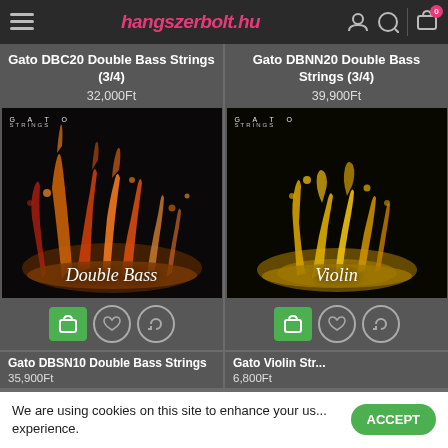hangszerbolt.hu
Gato DBC20 Double Bass Strings (3/4)
32,000Ft
[Figure (photo): Gato Strings Double Bass product image — colorful liquid splash on black background with 'Double Bass' text]
Gato DBNN20 Double Bass Strings (3/4)
39,900Ft
[Figure (photo): Gato Strings Violin product image — golden liquid splash on black background with 'Violin' text]
Gato DBSN10 Double Bass Strings
35,900Ft
Gato Violin Str...
6,800Ft
We are using cookies on this site to enhance your us... experience.